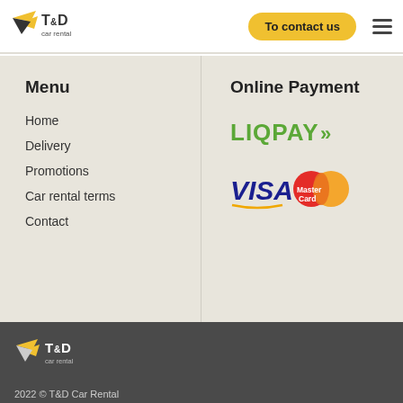[Figure (logo): T&D Car Rental logo with yellow arrow/wing graphic]
To contact us
Menu
Home
Delivery
Promotions
Car rental terms
Contact
Online Payment
[Figure (logo): LIQPAY logo with green text and double chevron arrows]
[Figure (logo): VISA and MasterCard payment logos]
[Figure (logo): T&D Car Rental logo white version in footer]
2022 © T&D Car Rental